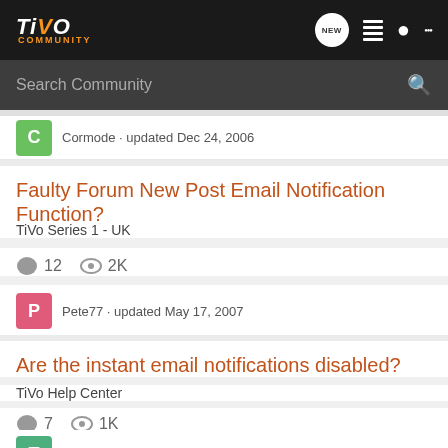TiVO COMMUNITY
Search Community
Cormode · updated Dec 24, 2006
Faulty Forum New Post Email Notification Function?
TiVo Series 1 - UK
12  2K
Pete77 · updated May 17, 2007
Are the instant email notifications disabled?
TiVo Help Center
7  1K
Tanquen · updated Mar 22, 2015